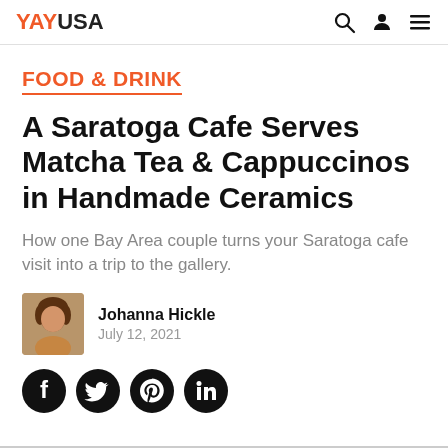YAYUSA
FOOD & DRINK
A Saratoga Cafe Serves Matcha Tea & Cappuccinos in Handmade Ceramics
How one Bay Area couple turns your Saratoga cafe visit into a trip to the gallery.
Johanna Hickle
July 12, 2021
[Figure (other): Social media share icons: Facebook, Twitter, Pinterest, LinkedIn]